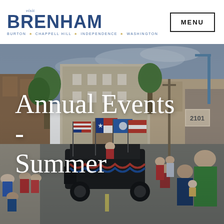[Figure (logo): Visit Brenham logo with tagline: Burton * Chappell Hill * Independence * Washington]
MENU
[Figure (photo): Outdoor parade scene in a small Texas town. A vintage black vehicle decorated with patriotic bunting leads the parade, carrying people holding multiple flags including American, Texas, and other flags. Crowds line both sides of the street. A man in a green shirt and a woman holding a baby watch from the foreground right. Trees and storefronts are visible in the background under a cloudy sky.]
Annual Events - Summer